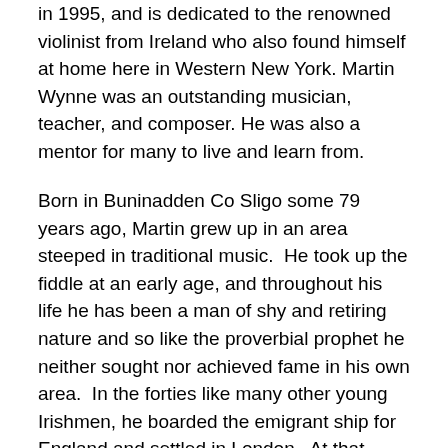in 1995, and is dedicated to the renowned violinist from Ireland who also found himself at home here in Western New York. Martin Wynne was an outstanding musician, teacher, and composer. He was also a mentor for many to live and learn from.
Born in Buninadden Co Sligo some 79 years ago, Martin grew up in an area steeped in traditional music.  He took up the fiddle at an early age, and throughout his life he has been a man of shy and retiring nature and so like the proverbial prophet he neither sought nor achieved fame in his own area.  In the forties like many other young Irishmen, he boarded the emigrant ship for England and settled in London.  At that time, dances were held six nights a week and Monday was the exception.
The Banba Club in Kilburn and the Blarney Club